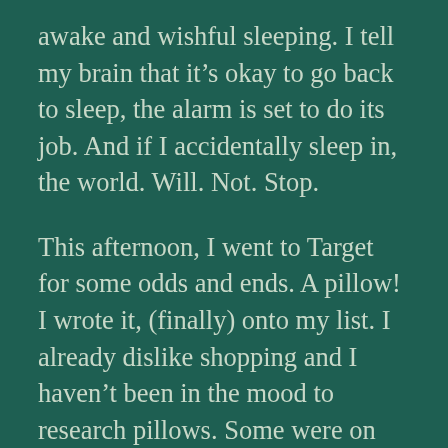awake and wishful sleeping. I tell my brain that it's okay to go back to sleep, the alarm is set to do its job. And if I accidentally sleep in, the world. Will. Not. Stop.

This afternoon, I went to Target for some odds and ends. A pillow! I wrote it, (finally) onto my list. I already dislike shopping and I haven't been in the mood to research pillows. Some were on sale, but the shelves were bare of those. Honestly, I don't care how much it is, but manage to steer away from a $99 pillow. So much for not caring. I find one that I hope will work. It's not like you can try it on. If I don't like it, I'm certain someone else will gladly take it from me.